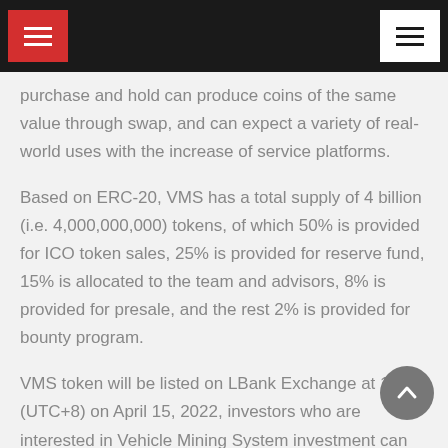Navigation header with hamburger menus
purchase and hold can produce coins of the same value through swap, and can expect a variety of real-world uses with the increase of service platforms.
Based on ERC-20, VMS has a total supply of 4 billion (i.e. 4,000,000,000) tokens, of which 50% is provided for ICO token sales, 25% is provided for reserve fund, 15% is allocated to the team and advisors, 8% is provided for presale, and the rest 2% is provided for bounty program.
VMS token will be listed on LBank Exchange at 12:00 (UTC+8) on April 15, 2022, investors who are interested in Vehicle Mining System investment can easily buy and sell VMS token on LBank Exchange by then. The listing of VMS on LBank Exchange will undoubtedly help it further expand its business and